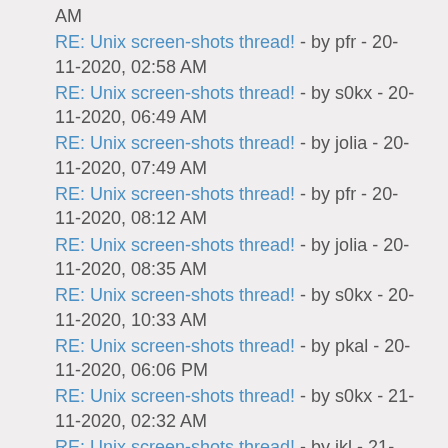AM
RE: Unix screen-shots thread! - by pfr - 20-11-2020, 02:58 AM
RE: Unix screen-shots thread! - by s0kx - 20-11-2020, 06:49 AM
RE: Unix screen-shots thread! - by jolia - 20-11-2020, 07:49 AM
RE: Unix screen-shots thread! - by pfr - 20-11-2020, 08:12 AM
RE: Unix screen-shots thread! - by jolia - 20-11-2020, 08:35 AM
RE: Unix screen-shots thread! - by s0kx - 20-11-2020, 10:33 AM
RE: Unix screen-shots thread! - by pkal - 20-11-2020, 06:06 PM
RE: Unix screen-shots thread! - by s0kx - 21-11-2020, 02:32 AM
RE: Unix screen-shots thread! - by jkl - 21-11-2020, 08:24 AM
RE: Unix screen-shots thread! - by s0kx - 21-11-2020, 10:38 AM
RE: Unix screen-shots thread! - by ols - 24-11-2020, 01:51 PM
RE: Unix screen-shots thread! - by pyratebeard - 25-11-2020, 08:26 AM
RE: Unix screen-shots thread! - by opfez - 25-11-2020, 12:42 PM
RE: Unix screen-shots thread! - by pyratebeard - 25-11-2020,